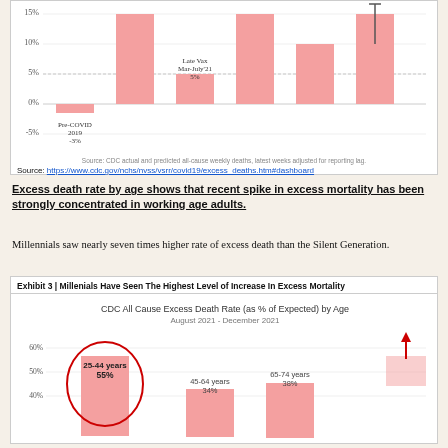[Figure (bar-chart): Excess death rate (partial, top portion visible)]
Source: https://www.cdc.gov/nchs/nvss/vsrr/covid19/excess_deaths.htm#dashboard
Excess death rate by age shows that recent spike in excess mortality has been strongly concentrated in working age adults.
Millennials saw nearly seven times higher rate of excess death than the Silent Generation.
[Figure (bar-chart): CDC All Cause Excess Death Rate (as % of Expected) by Age
August 2021 - December 2021]